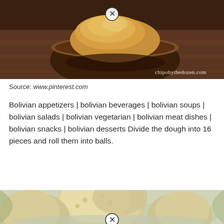[Figure (photo): Photo of bread rolls in a wooden bowl, with watermark 'chipobythedozen.com' and a close/remove button overlay]
Source: www.pinterest.com
Bolivian appetizers | bolivian beverages | bolivian soups | bolivian salads | bolivian vegetarian | bolivian meat dishes | bolivian snacks | bolivian desserts Divide the dough into 16 pieces and roll them into balls.
[Figure (photo): Close-up photo of dough balls in a bowl, with a close/remove button overlay at the bottom]